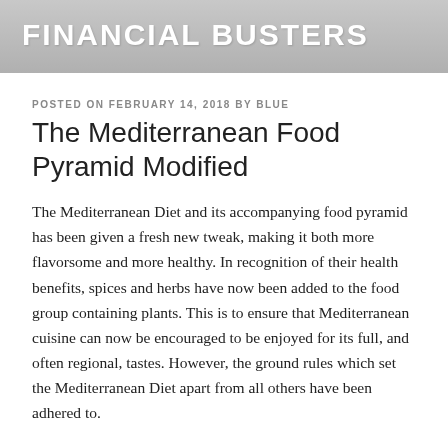FINANCIAL BUSTERS
POSTED ON FEBRUARY 14, 2018 BY BLUE
The Mediterranean Food Pyramid Modified
The Mediterranean Diet and its accompanying food pyramid has been given a fresh new tweak, making it both more flavorsome and more healthy. In recognition of their health benefits, spices and herbs have now been added to the food group containing plants. This is to ensure that Mediterranean cuisine can now be encouraged to be enjoyed for its full, and often regional, tastes. However, the ground rules which set the Mediterranean Diet apart from all others have been adhered to.